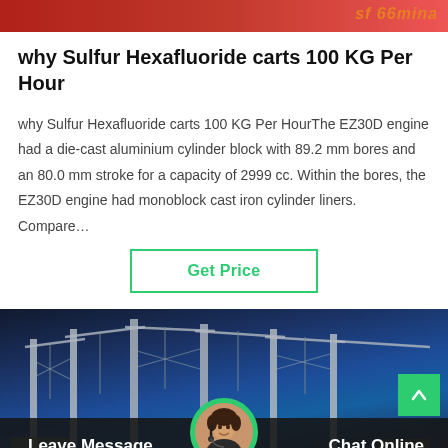[Figure (photo): Top banner with red/industrial background and orange italic brand logo text 'sf 66mina' on right]
why Sulfur Hexafluoride carts 100 KG Per Hour
why Sulfur Hexafluoride carts 100 KG Per HourThe EZ30D engine had a die-cast aluminium cylinder block with 89.2 mm bores and an 80.0 mm stroke for a capacity of 2999 cc. Within the bores, the EZ30D engine had monoblock cast iron cylinder liners. Compare…
Get Price
[Figure (photo): Industrial electrical substation or power infrastructure with tall metal structures and cables against a dark blue sky, with a green scroll-to-top button and a dark chat bar at the bottom showing 'Leave Message' on the left, a customer service avatar in the center, and 'Chat Online' on the right]